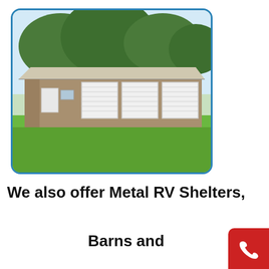[Figure (photo): A large metal storage building with tan/beige walls, white roof, one standard door, one window, and three white roll-up garage doors, set on a green lawn with trees in the background. The photo is in a rounded-corner frame with a blue border.]
We also offer Metal RV Shelters, Barns and Storage Buildings in virtually any